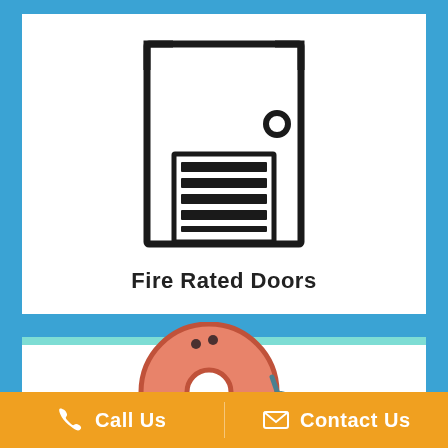[Figure (illustration): Line art icon of a fire rated door — a tall rectangular door outline with bracket corners at top, a round doorknob on the right side, and horizontal ventilation louvers in the lower portion.]
Fire Rated Doors
[Figure (illustration): Colorful icon of a fire alarm bell — a large round salmon/coral colored bell dome with a small central ring and a rod with a round ball striker to the right.]
Call Us
Contact Us